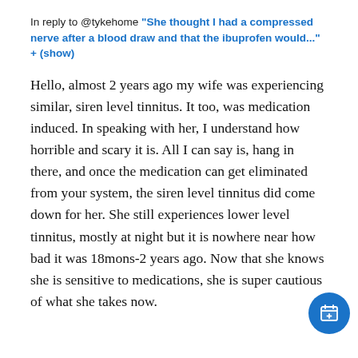In reply to @tykehome "She thought I had a compressed nerve after a blood draw and that the ibuprofen would..." + (show)
Hello, almost 2 years ago my wife was experiencing similar, siren level tinnitus. It too, was medication induced. In speaking with her, I understand how horrible and scary it is. All I can say is, hang in there, and once the medication can get eliminated from your system, the siren level tinnitus did come down for her. She still experiences lower level tinnitus, mostly at night but it is nowhere near how bad it was 18mons-2 years ago. Now that she knows she is sensitive to medications, she is super cautious of what she takes now.